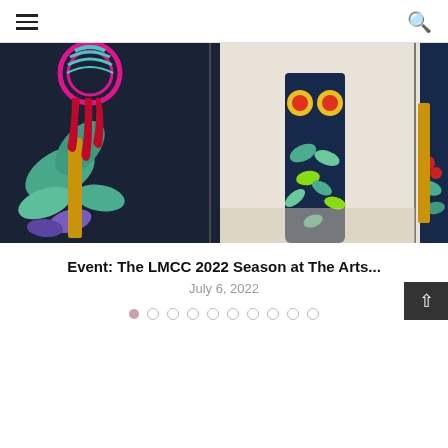☰  🔍
[Figure (photo): Three-panel photo collage showing dark navy garments/jumpsuits with colorful botanical and decorative hand-painted motifs (leaves, sequins, floral) displayed in a gallery setting.]
Event: The LMCC 2022 Season at The Arts...
July 6, 2022
[Figure (other): Pagination dots — 10 dots, first dot filled/active (pink), rest empty circles.]